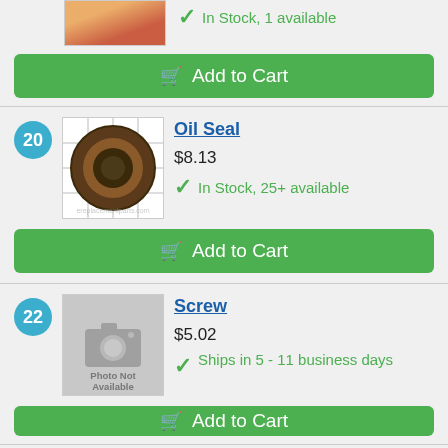[Figure (photo): Partial product image at top, partially visible]
In Stock, 1 available
Add to Cart
20
[Figure (photo): Oil seal product photo on grid background]
Oil Seal
$8.13
In Stock, 25+ available
Add to Cart
22
[Figure (photo): Photo Not Available placeholder image]
Screw
$5.02
Ships in 5 - 11 business days
Add to Cart